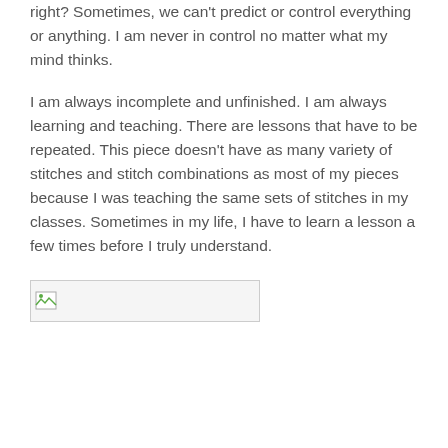right? Sometimes, we can't predict or control everything or anything. I am never in control no matter what my mind thinks.
I am always incomplete and unfinished. I am always learning and teaching. There are lessons that have to be repeated. This piece doesn't have as many variety of stitches and stitch combinations as most of my pieces because I was teaching the same sets of stitches in my classes. Sometimes in my life, I have to learn a lesson a few times before I truly understand.
[Figure (photo): Broken/missing image placeholder with small image icon in top-left corner]